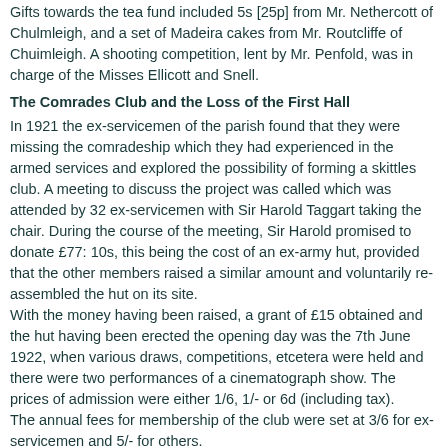Gifts towards the tea fund included 5s [25p] from Mr. Nethercott of Chulmleigh, and a set of Madeira cakes from Mr. Routcliffe of Chuimleigh. A shooting competition, lent by Mr. Penfold, was in charge of the Misses Ellicott and Snell.
The Comrades Club and the Loss of the First Hall
In 1921 the ex-servicemen of the parish found that they were missing the comradeship which they had experienced in the armed services and explored the possibility of forming a skittles club. A meeting to discuss the project was called which was attended by 32 ex-servicemen with Sir Harold Taggart taking the chair. During the course of the meeting, Sir Harold promised to donate £77: 10s, this being the cost of an ex-army hut, provided that the other members raised a similar amount and voluntarily re-assembled the hut on its site.
With the money having been raised, a grant of £15 obtained and the hut having been erected the opening day was the 7th June 1922, when various draws, competitions, etcetera were held and there were two performances of a cinematograph show. The prices of admission were either 1/6, 1/- or 6d (including tax).
The annual fees for membership of the club were set at 3/6 for ex-servicemen and 5/- for others.
Shortly prior to Christmas 1923 a skittle competition was held with the turkey being won by Mr. W.E. Short. With the assistance of helpers Mrs